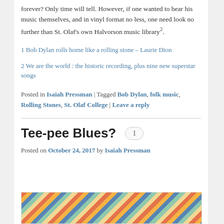forever? Only time will tell. However, if one wanted to hear his music themselves, and in vinyl format no less, one need look no further than St. Olaf's own Halvorson music library².
1 Bob Dylan rolls home like a rolling stone – Laurie Dion
2 We are the world : the historic recording, plus nine new superstar songs
Posted in Isaiah Pressman | Tagged Bob Dylan, folk music, Rolling Stones, St. Olaf College | Leave a reply
Tee-pee Blues?
Posted on October 24, 2017 by Isaiah Pressman
[Figure (illustration): Colorful patterned textile or fabric image with circular and floral motifs in orange, blue, green, and yellow]